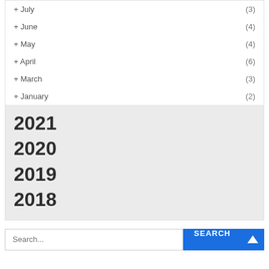+ July (3)
+ June (4)
+ May (4)
+ April (6)
+ March (3)
+ January (2)
2021
2020
2019
2018
Search...